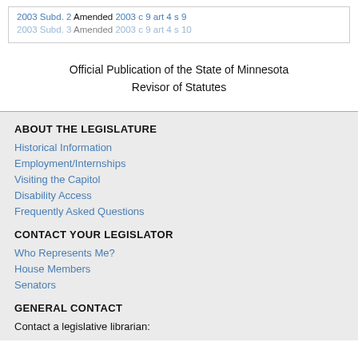2003 Subd. 2 Amended 2003 c 9 art 4 s 9
2003 Subd. 3 Amended 2003 c 9 art 4 s 10
Official Publication of the State of Minnesota
Revisor of Statutes
ABOUT THE LEGISLATURE
Historical Information
Employment/Internships
Visiting the Capitol
Disability Access
Frequently Asked Questions
CONTACT YOUR LEGISLATOR
Who Represents Me?
House Members
Senators
GENERAL CONTACT
Contact a legislative librarian: